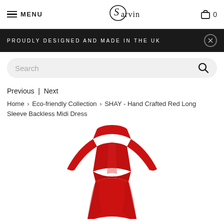MENU | Sarvin logo | Cart 0
PROUDLY DESIGNED AND MADE IN THE UK
Search
Previous | Next
Home > Eco-friendly Collection > SHAY - Hand Crafted Red Long Sleeve Backless Midi Dress
[Figure (photo): Photo of a red long sleeve backless midi dress on a white background, showing the front/back upper body of the dress with fitted bodice and flared skirt]